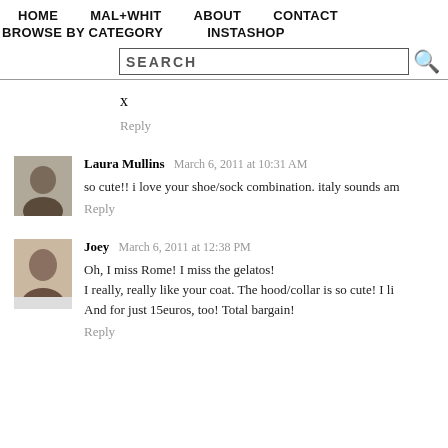HOME  MAL+WHIT  ABOUT  CONTACT
BROWSE BY CATEGORY  INSTASHOP
x
Reply
Laura Mullins  March 6, 2011 at 10:31 AM
so cute!! i love your shoe/sock combination. italy sounds am
Reply
Joey  March 6, 2011 at 12:38 PM
Oh, I miss Rome! I miss the gelatos!
I really, really like your coat. The hood/collar is so cute! I li
And for just 15euros, too! Total bargain!
Reply